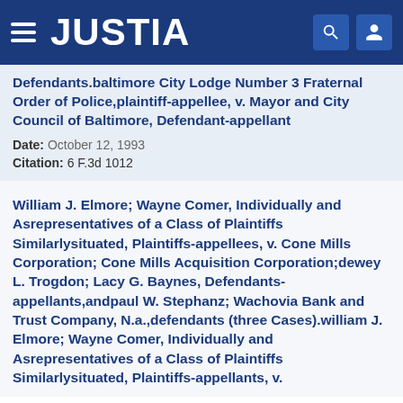[Figure (logo): Justia website header with hamburger menu, JUSTIA logo in white on dark blue background, and search/user icons]
Defendants.baltimore City Lodge Number 3 Fraternal Order of Police,plaintiff-appellee, v. Mayor and City Council of Baltimore, Defendant-appellant
Date: October 12, 1993
Citation: 6 F.3d 1012
William J. Elmore; Wayne Comer, Individually and Asrepresentatives of a Class of Plaintiffs Similarlysituated, Plaintiffs-appellees, v. Cone Mills Corporation; Cone Mills Acquisition Corporation;dewey L. Trogdon; Lacy G. Baynes, Defendants-appellants,andpaul W. Stephanz; Wachovia Bank and Trust Company, N.a.,defendants (three Cases).william J. Elmore; Wayne Comer, Individually and Asrepresentatives of a Class of Plaintiffs Similarlysituated, Plaintiffs-appellants, v.